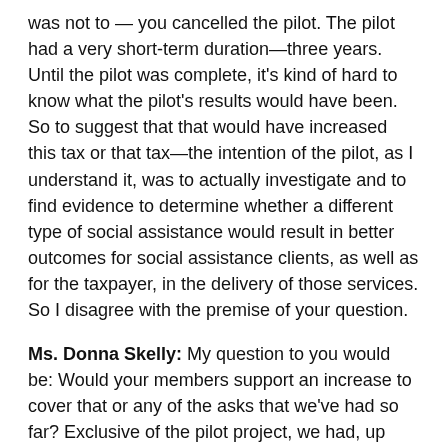was not to — you cancelled the pilot. The pilot had a very short-term duration—three years. Until the pilot was complete, it's kind of hard to know what the pilot's results would have been. So to suggest that that would have increased this tax or that tax—the intention of the pilot, as I understand it, was to actually investigate and to find evidence to determine whether a different type of social assistance would result in better outcomes for social assistance clients, as well as for the taxpayer, in the delivery of those services. So I disagree with the premise of your question.
Ms. Donna Skelly: My question to you would be: Would your members support an increase to cover that or any of the asks that we've had so far? Exclusive of the pilot project, we had, up until today, about $3.7 billion in asks. All of the presenters suggested that to cover that additional cost, we shouldn't go to the residential taxpayer, but rather business. Could you and would you, as a representative of the chamber, support an increase to business taxes to